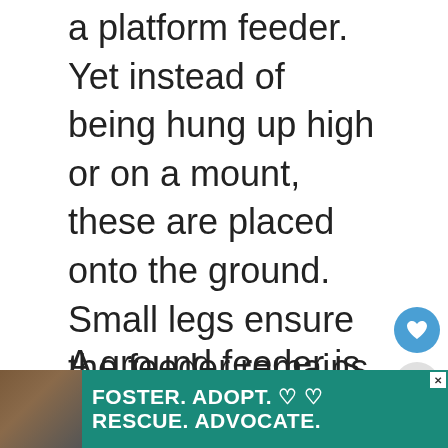a platform feeder. Yet instead of being hung up high or on a mount, these are placed onto the ground. Small legs ensure the feeder remains slightly off the ground to give the seed room to drain and air. This will prevent it from getting moldy.
A ground feeder is a simple mesh tray so you won't be restricted to what you can place on it. Yet if your main goal is to feed birds then it's best to offer up
[Figure (screenshot): UI overlay elements: heart/favorite button (blue circle), share button (grey circle with share icon), and a 'What's Next' panel showing 'How To Keep Blackbirds...' with a bird image thumbnail]
[Figure (other): Advertisement banner: green background with dog image on left, text 'FOSTER. ADOPT. RESCUE. ADVOCATE.' with heart icons, and a close button]